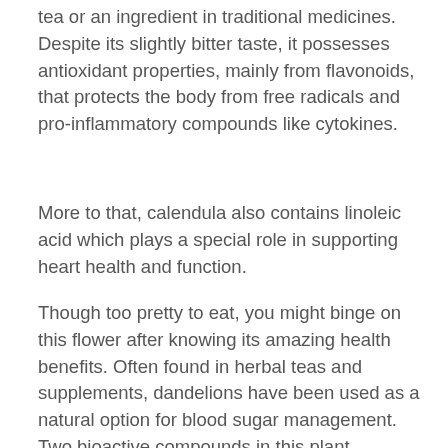tea or an ingredient in traditional medicines. Despite its slightly bitter taste, it possesses antioxidant properties, mainly from flavonoids, that protects the body from free radicals and pro-inflammatory compounds like cytokines.
More to that, calendula also contains linoleic acid which plays a special role in supporting heart health and function.
Though too pretty to eat, you might binge on this flower after knowing its amazing health benefits. Often found in herbal teas and supplements, dandelions have been used as a natural option for blood sugar management. Two bioactive compounds in this plant — chicoric and chlorogenic